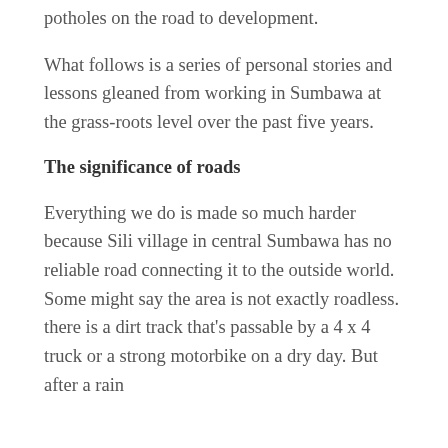potholes on the road to development.
What follows is a series of personal stories and lessons gleaned from working in Sumbawa at the grass-roots level over the past five years.
The significance of roads
Everything we do is made so much harder because Sili village in central Sumbawa has no reliable road connecting it to the outside world. Some might say the area is not exactly roadless. there is a dirt track that's passable by a 4 x 4 truck or a strong motorbike on a dry day. But after a rain